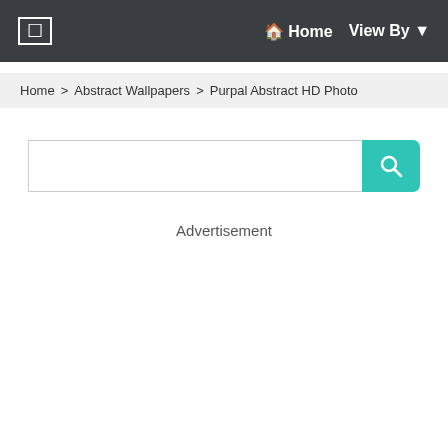☰  Home  View By ▾
Home > Abstract Wallpapers > Purpal Abstract HD Photo
[Figure (other): Search input box with teal search button containing magnifying glass icon]
Advertisement